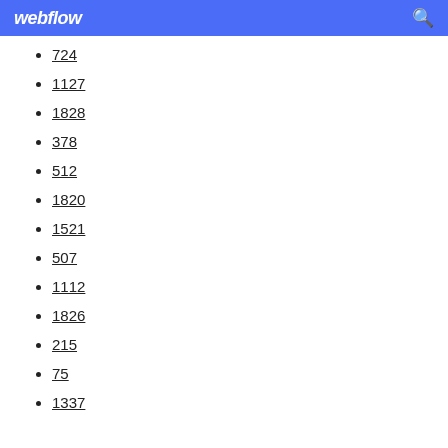webflow
724
1127
1828
378
512
1820
1521
507
1112
1826
215
75
1337